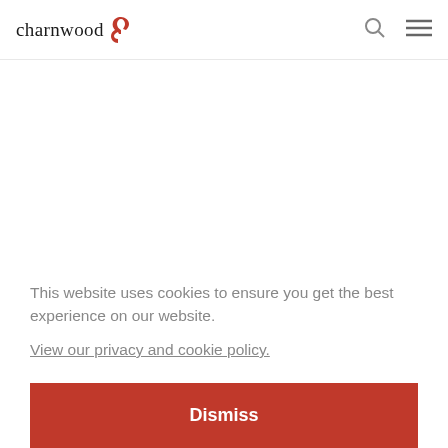[Figure (logo): Charnwood logo with text 'charnwood' in serif font and a red bird/deer silhouette icon]
[Figure (other): Search icon (magnifying glass) in the top right header area]
[Figure (other): Hamburger menu icon (three horizontal lines) in the top right header area]
This website uses cookies to ensure you get the best experience on our website.
View our privacy and cookie policy.
Dismiss